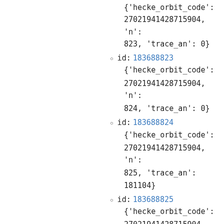{'hecke_orbit_code': 27021941428715904, 'n': 823, 'trace_an': 0}
id: 183688823
{'hecke_orbit_code': 27021941428715904, 'n': 824, 'trace_an': 0}
id: 183688824
{'hecke_orbit_code': 27021941428715904, 'n': 825, 'trace_an': 181104}
id: 183688825
{'hecke_orbit_code': 27021941428715904, 'n': 826, 'trace_an': 0}
id: 183688826
{'hecke_orbit_code': 27021941428715904, 'n': 827, 'trace_an': 0}
id: 183688827